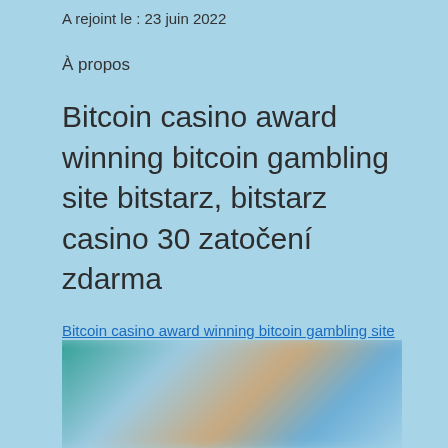A rejoint le : 23 juin 2022
À propos
Bitcoin casino award winning bitcoin gambling site bitstarz, bitstarz casino 30 zatočení zdarma
Bitcoin casino award winning bitcoin gambling site bitstarz
[Figure (photo): Blurred image partially visible at the bottom of the page, showing indistinct colorful figures]